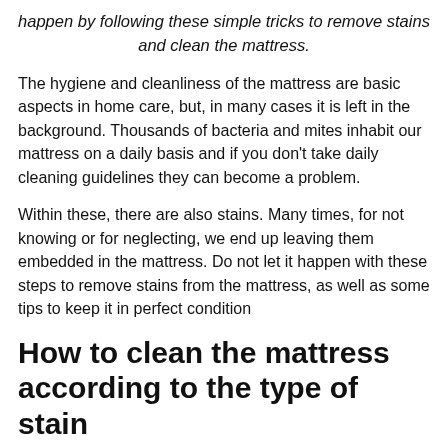happen by following these simple tricks to remove stains and clean the mattress.
The hygiene and cleanliness of the mattress are basic aspects in home care, but, in many cases it is left in the background. Thousands of bacteria and mites inhabit our mattress on a daily basis and if you don't take daily cleaning guidelines they can become a problem.
Within these, there are also stains. Many times, for not knowing or for neglecting, we end up leaving them embedded in the mattress. Do not let it happen with these steps to remove stains from the mattress, as well as some tips to keep it in perfect condition
How to clean the mattress according to the type of stain
Urine stains